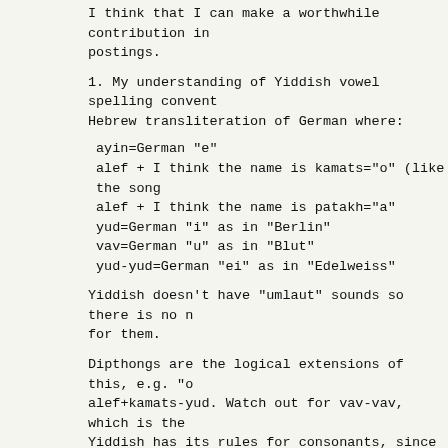I think that I can make a worthwhile contribution in postings.
1. My understanding of Yiddish vowel spelling conventions is Hebrew transliteration of German where:
ayin=German "e"
alef + I think the name is kamats="o" (like the song
alef + I think the name is patakh="a"
yud=German "i" as in "Berlin"
vav=German "u" as in "Blut"
yud-yud=German "ei" as in "Edelweiss"
Yiddish doesn't have "umlaut" sounds so there is no need for them.
Dipthongs are the logical extensions of this, e.g. "oi" = alef+kamats-yud. Watch out for vav-vav, which is the... Yiddish has its rules for consonants, since in Yiddish "f" sound at the beginning of a word, and Yiddish does such as "Ch" (as in "cheese") and "Zh" (like "s" in "
2. Cyrillic capital letters can look like Latin ones, but letters look different. So the symbol "H" has a "n" sound but "h" doesn't exist. Similarly, "B" sounds like "v" a large "soft sign" in Russian, etc.
3. In Russian, "Solovei" means "nightengale", "Solovei little nightengale".